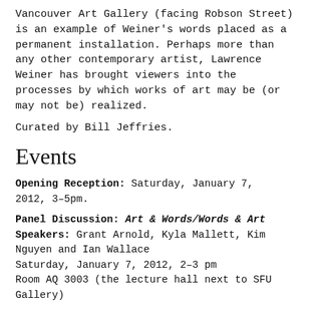Vancouver Art Gallery (facing Robson Street) is an example of Weiner's words placed as a permanent installation. Perhaps more than any other contemporary artist, Lawrence Weiner has brought viewers into the processes by which works of art may be (or may not be) realized.
Curated by Bill Jeffries.
Events
Opening Reception: Saturday, January 7, 2012, 3–5pm.
Panel Discussion: Art & Words/Words & Art Speakers: Grant Arnold, Kyla Mallett, Kim Nguyen and Ian Wallace Saturday, January 7, 2012, 2–3 pm Room AQ 3003 (the lecture hall next to SFU Gallery)